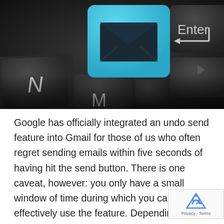[Figure (photo): Close-up photo of a dark keyboard with a bright cyan/blue key featuring an email envelope icon in the center, with 'N' key visible on the left, 'M' key below, and 'Enter' key with arrow on the right side. Dark background with glossy keys.]
Google has officially integrated an undo send feature into Gmail for those of us who often regret sending emails within five seconds of having hit the send button. There is one caveat, however: you only have a small window of time during which you can effectively use the feature. Depending on the configurations that you this time can range from 5 to 30 seconds. While i undoubtedly small timeframe, more often than not, we